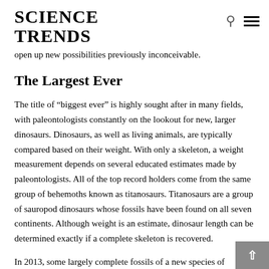SCIENCE TRENDS
open up new possibilities previously inconceivable.
The Largest Ever
The title of “biggest ever” is highly sought after in many fields, with paleontologists constantly on the lookout for new, larger dinosaurs. Dinosaurs, as well as living animals, are typically compared based on their weight. With only a skeleton, a weight measurement depends on several educated estimates made by paleontologists. All of the top record holders come from the same group of behemoths known as titanosaurs. Titanosaurs are a group of sauropod dinosaurs whose fossils have been found on all seven continents. Although weight is an estimate, dinosaur length can be determined exactly if a complete skeleton is recovered.
In 2013, some largely complete fossils of a new species of titanosaurs...